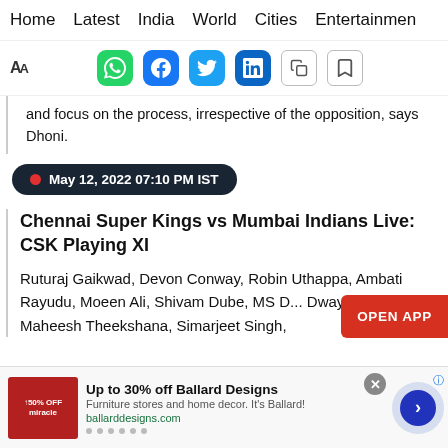Home  Latest  India  World  Cities  Entertainment
[Figure (screenshot): Social sharing icons row: font-size AA icon, WhatsApp, Facebook, Twitter, LinkedIn, copy, bookmark]
and focus on the process, irrespective of the opposition, says Dhoni.
May 12, 2022 07:10 PM IST
Chennai Super Kings vs Mumbai Indians Live: CSK Playing XI
Ruturaj Gaikwad, Devon Conway, Robin Uthappa, Ambati Rayudu, Moeen Ali, Shivam Dube, MS D... Dwayne Bravo, Maheesh Theekshana, Simarjeet Singh,
[Figure (screenshot): OPEN APP button overlay in red on the right side]
[Figure (screenshot): Advertisement banner: Up to 30% off Ballard Designs - Furniture stores and home decor. ballarddesigns.com. With carousel navigation arrow.]